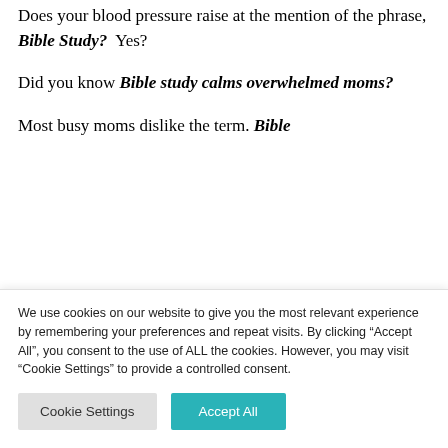Does your blood pressure raise at the mention of the phrase, Bible Study? Yes?
Did you know Bible study calms overwhelmed moms?
Most busy moms dislike the term. Bible
We use cookies on our website to give you the most relevant experience by remembering your preferences and repeat visits. By clicking "Accept All", you consent to the use of ALL the cookies. However, you may visit "Cookie Settings" to provide a controlled consent.